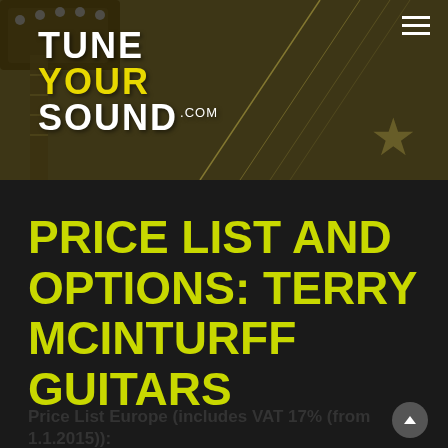[Figure (logo): TuneYourSound.com logo on dark olive/brown textured background with guitar imagery and diagonal strings. Hamburger menu icon top right.]
PRICE LIST AND OPTIONS: TERRY MCINTURFF GUITARS
Price List Europe (includes VAT 17% (from 1.1.2015)):